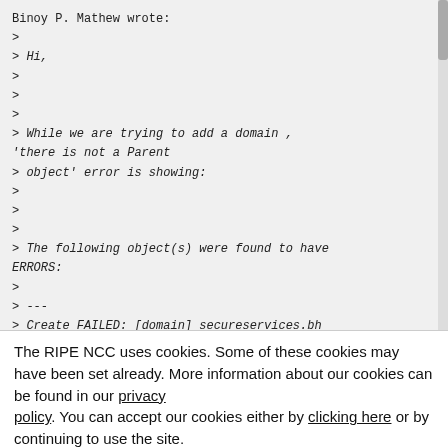Binoy P. Mathew wrote:
>
> Hi,
>
>
>
> While we are trying to add a domain , 'there is not a Parent
> object' error is showing:
>
>
>
> The following object(s) were found to have ERRORS:
>
> ---
> Create FAILED: [domain] secureservices.bh
> ***Error: Authorisation failed
The RIPE NCC uses cookies. Some of these cookies may have been set already. More information about our cookies can be found in our privacy policy. You can accept our cookies either by clicking here or by continuing to use the site.